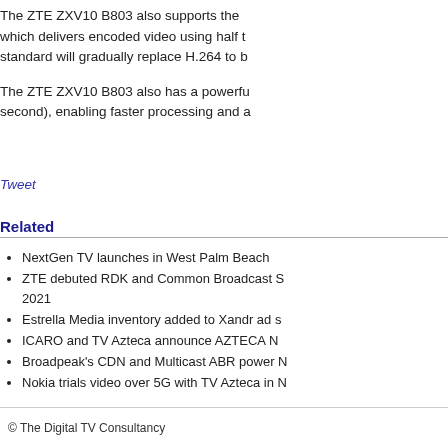The ZTE ZXV10 B803 also supports the which delivers encoded video using half the standard will gradually replace H.264 to b
The ZTE ZXV10 B803 also has a powerfu second), enabling faster processing and a
Tweet
Related
NextGen TV launches in West Palm Beach
ZTE debuted RDK and Common Broadcast S 2021
Estrella Media inventory added to Xandr ad s
ICARO and TV Azteca announce AZTECA N
Broadpeak's CDN and Multicast ABR power N
Nokia trials video over 5G with TV Azteca in N
© The Digital TV Consultancy